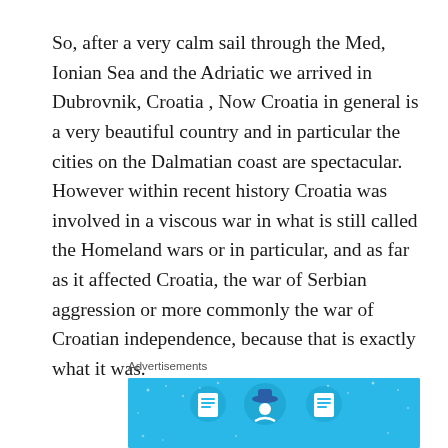So, after a very calm sail through the Med, Ionian Sea and the Adriatic we arrived in Dubrovnik, Croatia , Now Croatia in general is a very beautiful country and in particular the cities on the Dalmatian coast are spectacular. However within recent history Croatia was involved in a viscous war in what is still called the Homeland wars or in particular, and as far as it affected Croatia, the war of Serbian aggression or more commonly the war of Croatian independence, because that is exactly what it was.
Advertisements
[Figure (illustration): Blue advertisement banner with three circular icons depicting documents and a figure, with small star/dot decorations on the blue background.]